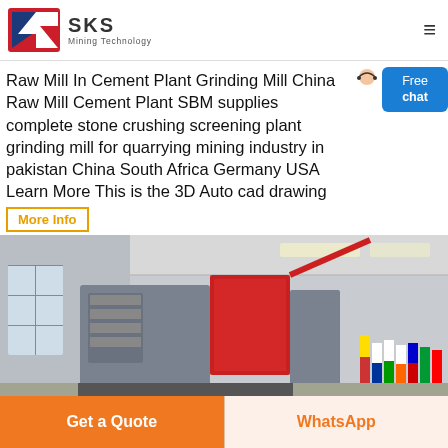SKS Mining Technology
Raw Mill In Cement Plant Grinding Mill China Raw Mill Cement Plant SBM supplies complete stone crushing screening plant grinding mill for quarrying mining industry in pakistan China South Africa Germany USA Learn More This is the 3D Auto cad drawing
More Info
[Figure (photo): Industrial grinding mill equipment in a factory/warehouse setting. Large grey machine with a red component visible. International flags in background.]
Get a Quote
WhatsApp